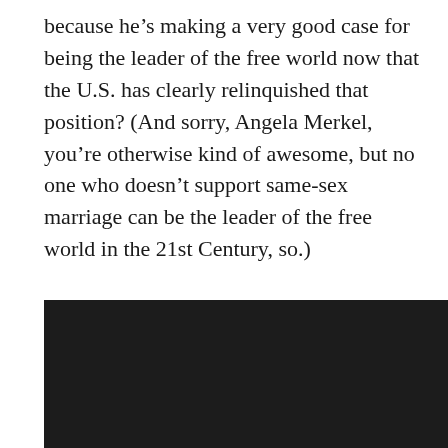because he's making a very good case for being the leader of the free world now that the U.S. has clearly relinquished that position? (And sorry, Angela Merkel, you're otherwise kind of awesome, but no one who doesn't support same-sex marriage can be the leader of the free world in the 21st Century, so.)
Okay, political rant over. Please to enjoy.
[Figure (photo): A large dark/black rectangular image area at the bottom of the page]